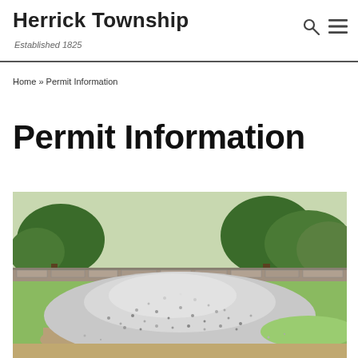Herrick Township
Established 1825
Home » Permit Information
Permit Information
[Figure (photo): A large pile of gravel/crushed stone on a dirt surface with trees and green foliage in the background]